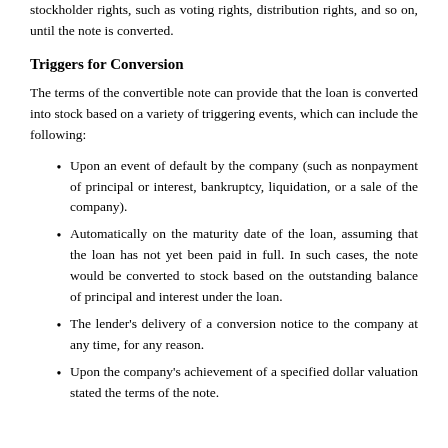stockholder rights, such as voting rights, distribution rights, and so on, until the note is converted.
Triggers for Conversion
The terms of the convertible note can provide that the loan is converted into stock based on a variety of triggering events, which can include the following:
Upon an event of default by the company (such as nonpayment of principal or interest, bankruptcy, liquidation, or a sale of the company).
Automatically on the maturity date of the loan, assuming that the loan has not yet been paid in full. In such cases, the note would be converted to stock based on the outstanding balance of principal and interest under the loan.
The lender's delivery of a conversion notice to the company at any time, for any reason.
Upon the company's achievement of a specified dollar valuation stated the terms of the note.